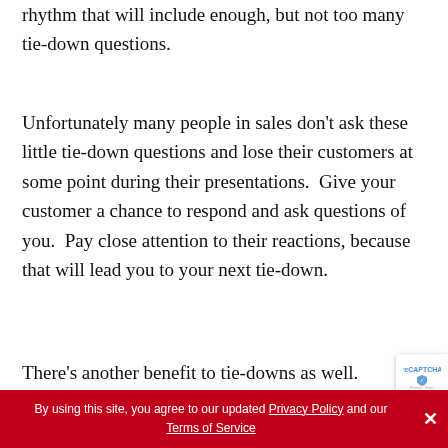rhythm that will include enough, but not too many tie-down questions.
Unfortunately many people in sales don't ask these little tie-down questions and lose their customers at some point during their presentations.  Give your customer a chance to respond and ask questions of you.  Pay close attention to their reactions, because that will lead you to your next tie-down.
There's another benefit to tie-downs as well.
By using this site, you agree to our updated Privacy Policy and our Terms of Service